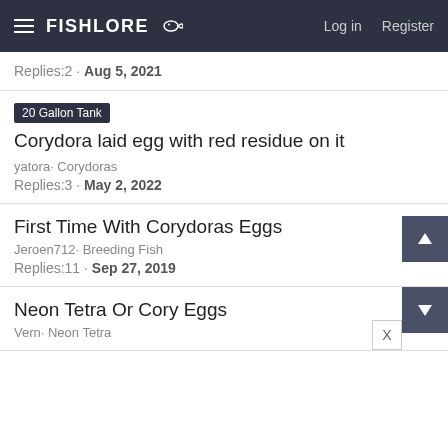FishLore | Log in | Register
Replies:2 · Aug 5, 2021
20 Gallon Tank  Corydora laid egg with red residue on it
yatora· Corydoras
Replies:3 · May 2, 2022
First Time With Corydoras Eggs
Jeroen712· Breeding Fish
Replies:11 · Sep 27, 2019
Neon Tetra Or Cory Eggs
Vern· Neon Tetra